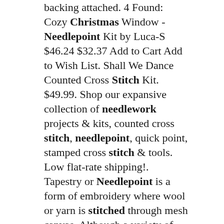backing attached. 4 Found: Cozy Christmas Window - Needlepoint Kit by Luca-S $46.24 $32.37 Add to Cart Add to Wish List. Shall We Dance Counted Cross Stitch Kit. $49.99. Shop our expansive collection of needlework projects & kits, counted cross stitch, needlepoint, quick point, stamped cross stitch & tools. Low flat-rate shipping!. Tapestry or Needlepoint is a form of embroidery where wool or yarn is stitched through mesh canvas. Although a variety of stitches can be used, most tapestries are worked using tent or half cross stitch. The design is usually printed directly onto the canvas but counted tapestry is available. As finished tapestry or needlepoint is usually quite. To stitch this you will need: 6×8 piece 18-mesh mono canvas red thread for border cream thread for background assorted green threads for tree. Step 2. Print the design provided in the download and